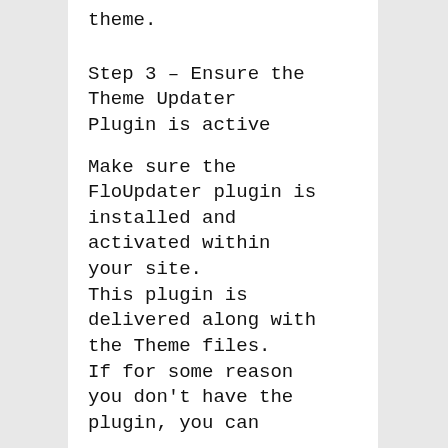theme.
Step 3 – Ensure the Theme Updater Plugin is active
Make sure the FloUpdater plugin is installed and activated within your site. This plugin is delivered along with the Theme files. If for some reason you don't have the plugin, you can